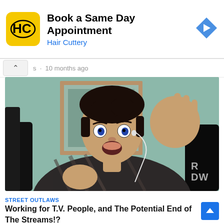[Figure (screenshot): Hair Cuttery advertisement banner with HC logo in yellow square, title 'Book a Same Day Appointment', subtitle 'Hair Cuttery' in blue, and a blue diamond navigation arrow on the right]
s · 10 months ago
[Figure (screenshot): Video thumbnail showing a young man with dark hair, wearing earbuds and a plaid shirt, raising one hand expressively, sitting in front of a framed picture on a teal wall]
STREET OUTLAWS
Working for T.V. People, and The Potential End of The Streams!?